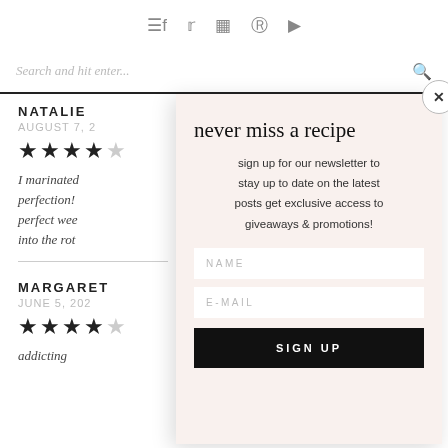≡f  Twitter  Instagram  Pinterest  YouTube
Search and hit enter...
NATALIE
AUGUST 7, 2
★★★★
I marinated perfection! perfect wee into the rot
MARGARET
JUNE 5, 202
★★★★
addicting
never miss a recipe
sign up for our newsletter to stay up to date on the latest posts get exclusive access to giveaways & promotions!
NAME
E-MAIL
SIGN UP